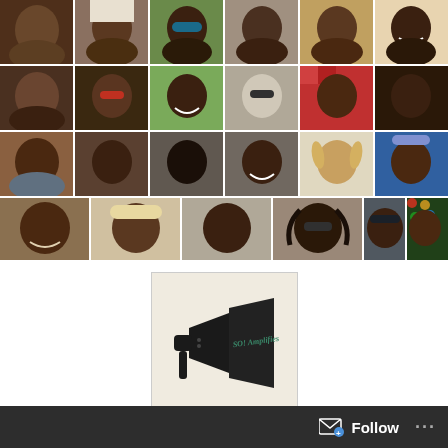[Figure (photo): A 4-row by 6-column collage of portrait photos showing diverse individuals, mostly African American men and women]
[Figure (photo): A megaphone/bullhorn with text 'SO! Amplifies' on the side, shown in a bordered box]
Follow ...